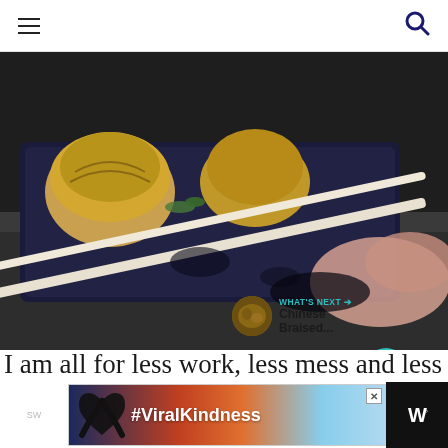Navigation header with hamburger menu and search icon
[Figure (photo): Close-up food photo showing Japanese dumplings or gyoza in a dark tray, being picked up with chopsticks by a hand visible in the lower right. Dark moody photography.]
WHAT'S NEXT → Chinese Braised...
I am all for less work, less mess and less time
[Figure (infographic): Advertisement banner showing silhouetted hands forming a heart shape against a sunset background, with the text #ViralKindness. A close button (X) is at the top right and a dark panel with the Weather Channel logo is on the right.]